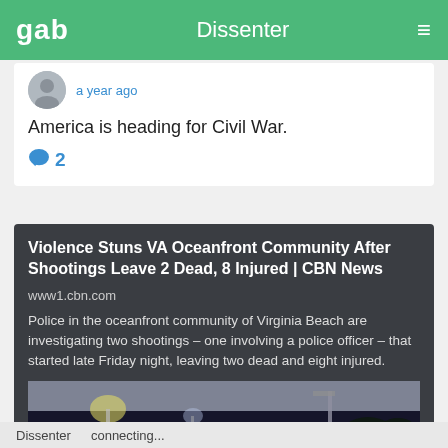gab  Dissenter  ☰
a year ago
America is heading for Civil War.
💬 2
Violence Stuns VA Oceanfront Community After Shootings Leave 2 Dead, 8 Injured | CBN News
www1.cbn.com
Police in the oceanfront community of Virginia Beach are investigating two shootings – one involving a police officer – that started late Friday night, leaving two dead and eight injured.
[Figure (photo): Dark nighttime street scene with blue and purple tones, street lights visible]
Dissenter   connecting...